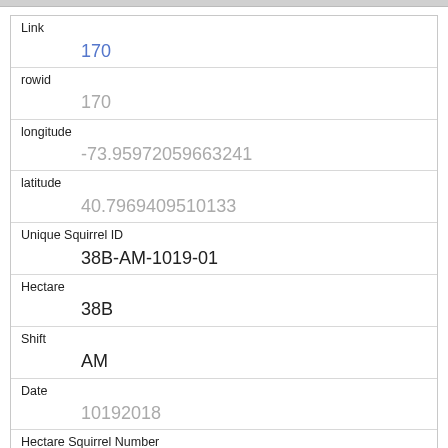| Field | Value |
| --- | --- |
| Link | 170 |
| rowid | 170 |
| longitude | -73.95972059663241 |
| latitude | 40.7969409510133 |
| Unique Squirrel ID | 38B-AM-1019-01 |
| Hectare | 38B |
| Shift | AM |
| Date | 10192018 |
| Hectare Squirrel Number | 1 |
| Age | Adult |